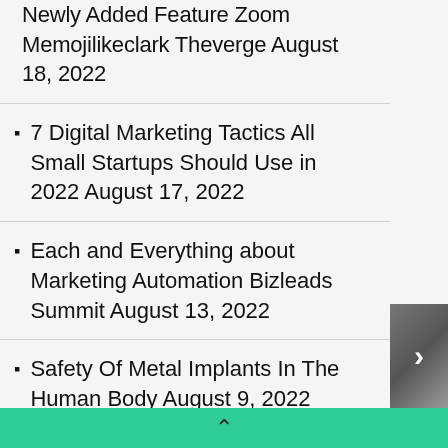Newly Added Feature Zoom Memojilikeclark Theverge August 18, 2022
7 Digital Marketing Tactics All Small Startups Should Use in 2022 August 17, 2022
Each and Everything about Marketing Automation Bizleads Summit August 13, 2022
Safety Of Metal Implants In The Human Body August 9, 2022
[Figure (photo): Partial photo of a person, partially visible on the right side]
^